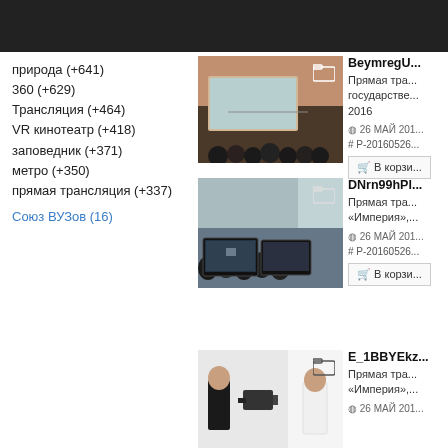природа (+641)
360 (+629)
Трансляция (+464)
VR кинотеатр (+418)
заповедник (+371)
метро (+350)
прямая трансляция (+337)
Союз ВУЗов (16)
[Figure (photo): Conference room with audience watching a presentation]
BeymregU...
Прямая тра... государстве... 2016
⊙ 26 МАЙ 201... # P-20160526...
В корзи...
[Figure (photo): Event with audience and video monitors showing broadcast]
DNrn99hPl...
Прямая тра... «Империя»,...
⊙ 26 МАЙ 201... # P-20160526...
В корзи...
[Figure (photo): Person in suit with camera equipment in bright room]
E_1BBYEkz...
Прямая тра... «Империя»,...
⊙ 26 МАЙ 201...